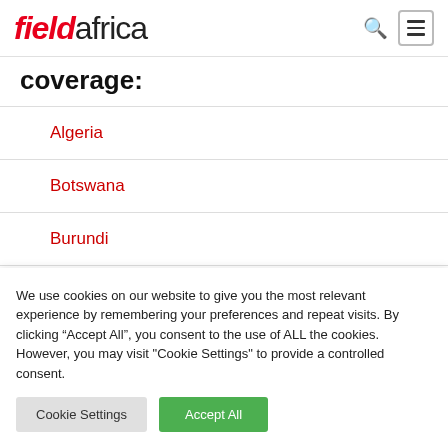fieldafrica
coverage:
Algeria
Botswana
Burundi
We use cookies on our website to give you the most relevant experience by remembering your preferences and repeat visits. By clicking “Accept All”, you consent to the use of ALL the cookies. However, you may visit "Cookie Settings" to provide a controlled consent.